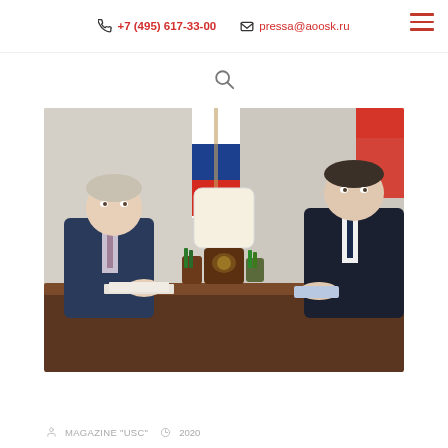+7 (495) 617-33-00  pressa@aoosk.ru
[Figure (other): Search icon (magnifying glass)]
[Figure (photo): Two men in suits seated at a formal meeting table with Russian flags in the background. One man on the left (older, grey-haired) faces the man on the right (younger, dark-haired) across a dark wooden desk with documents and pen holders.]
MAGAZINE "USC"  2020